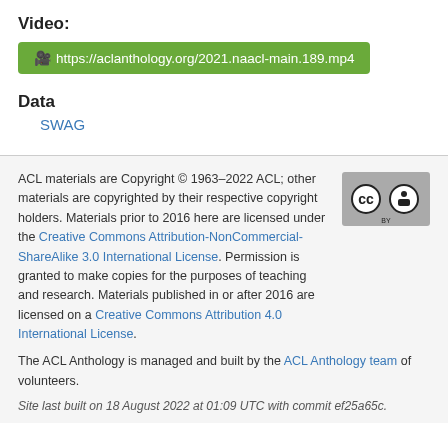Video:
https://aclanthology.org/2021.naacl-main.189.mp4
Data
SWAG
ACL materials are Copyright © 1963–2022 ACL; other materials are copyrighted by their respective copyright holders. Materials prior to 2016 here are licensed under the Creative Commons Attribution-NonCommercial-ShareAlike 3.0 International License. Permission is granted to make copies for the purposes of teaching and research. Materials published in or after 2016 are licensed on a Creative Commons Attribution 4.0 International License.
The ACL Anthology is managed and built by the ACL Anthology team of volunteers.
Site last built on 18 August 2022 at 01:09 UTC with commit ef25a65c.